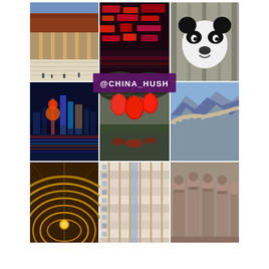[Figure (photo): 3x3 collage of China photos: Forbidden City temple with stone steps and tourists, neon-lit Hong Kong street at night with red signs, giant panda bear closeup, Shanghai skyline at night with colorful reflections on water, red lanterns hanging over a lake with reflections, Great Wall of China winding through mountains, interior of Grand Hyatt atrium with golden rings looking upward, residential apartment building facade with red/white grid pattern, terracotta warriors of Xian standing in rows]